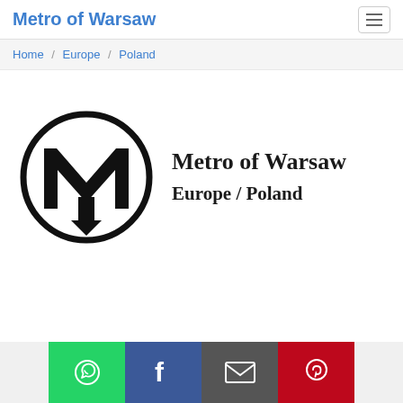Metro of Warsaw
Home / Europe / Poland
[Figure (logo): Metro of Warsaw logo: bold black letter M with downward arrows inside a black circle]
Metro of Warsaw
Europe / Poland
Social share buttons: WhatsApp, Facebook, Email, Pinterest